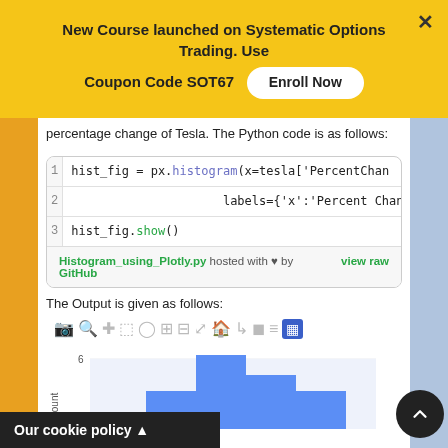New Course launched on Systematic Options Trading. Use Coupon Code SOT67  Enroll Now
percentage change of Tesla. The Python code is as follows:
[Figure (screenshot): Code block showing Python code using px.histogram to create a histogram of Tesla percent change, with GitHub hosting footer showing 'Histogram_using_Plotly.py hosted with ♥ by GitHub' and 'view raw' link]
The Output is given as follows:
[Figure (screenshot): Plotly chart toolbar with icons for camera, zoom, pan, select, lasso, zoom in, zoom out, autoscale, home, and other tools, followed by the beginning of a histogram chart showing blue bars with y-axis label and value 6 visible]
Our cookie policy ▲